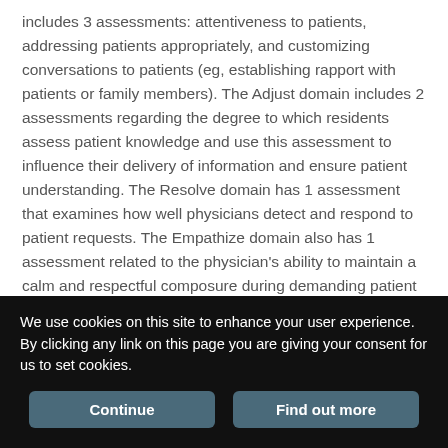includes 3 assessments: attentiveness to patients, addressing patients appropriately, and customizing conversations to patients (eg, establishing rapport with patients or family members). The Adjust domain includes 2 assessments regarding the degree to which residents assess patient knowledge and use this assessment to influence their delivery of information and ensure patient understanding. The Resolve domain has 1 assessment that examines how well physicians detect and respond to patient requests. The Empathize domain also has 1 assessment related to the physician's ability to maintain a calm and respectful composure during demanding patient situations.

Each domain consists of subdomains that specifically label behaviors
We use cookies on this site to enhance your user experience. By clicking any link on this page you are giving your consent for us to set cookies.